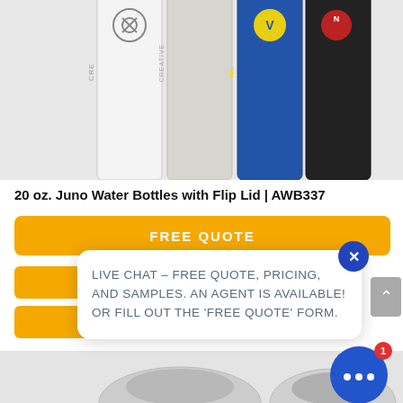[Figure (photo): Product photo showing four 20 oz. Juno water bottles with flip lids lined up - white, light gray/silver, blue, and black - each branded with 'CREATIVE' logo]
20 oz. Juno Water Bottles with Flip Lid | AWB337
FREE QUOTE
LIVE CHAT – FREE QUOTE, PRICING, AND SAMPLES. AN AGENT IS AVAILABLE! OR FILL OUT THE 'FREE QUOTE' FORM.
[Figure (photo): Bottom portion showing water bottle caps/tops in silver/gray color]